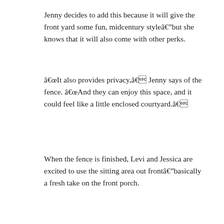Jenny decides to add this because it will give the front yard some fun, midcentury styleâ€”but she knows that it will also come with other perks.
â€œIt also provides privacy,â€� Jenny says of the fence. â€œAnd they can enjoy this space, and it could feel like a little enclosed courtyard.â€�
When the fence is finished, Levi and Jessica are excited to use the sitting area out frontâ€”basically a fresh take on the front porch.
3. Use the right wood tones in a kitchen
[Figure (photo): Two side-by-side photos of a kitchen interior showing wood-toned cabinets and ceiling details]